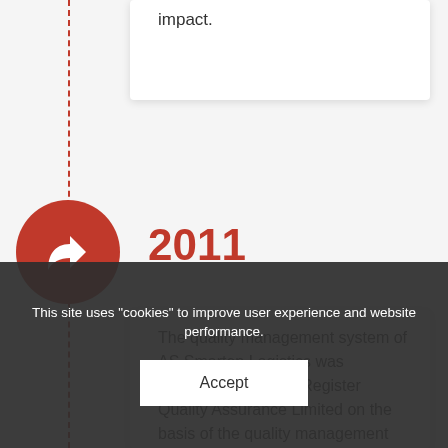impact.
2011
The quality management system of AS Smarten Logistics was approved by Lloyds Register Quality Assurance Limited on the basis of the quality management system standard ISO 9001:2015.
This site uses "cookies" to improve user experience and website performance.
Accept